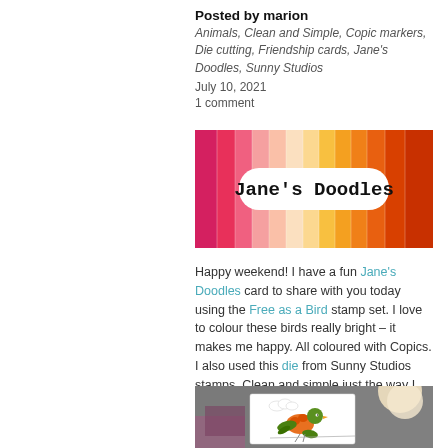Posted by marion
Animals, Clean and Simple, Copic markers, Die cutting, Friendship cards, Jane's Doodles, Sunny Studios
July 10, 2021
1 comment
[Figure (illustration): Jane's Doodles banner with rainbow/gradient colored brush strokes background (pink, salmon, peach, yellow, orange) and a white rounded rectangle label in the center reading 'Jane's Doodles' in handwritten/monospace font]
Happy weekend! I have a fun Jane's Doodles card to share with you today using the Free as a Bird stamp set. I love to colour these birds really bright – it makes me happy. All coloured with Copics. I also used this die from Sunny Studios stamps. Clean and simple just the way I like it.
[Figure (photo): Photo of a handmade greeting card held up showing a colorful cartoon bird (green and orange) with simple line art clouds, set against a gray and mauve background with a cream/white flower decoration]